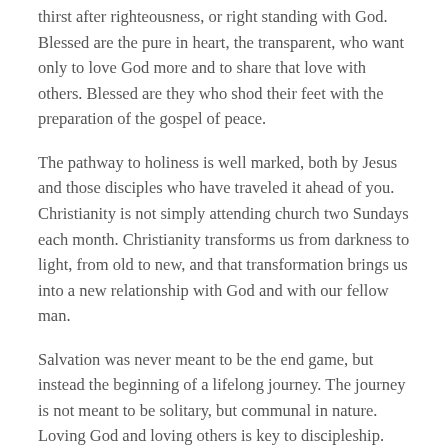thirst after righteousness, or right standing with God. Blessed are the pure in heart, the transparent, who want only to love God more and to share that love with others. Blessed are they who shod their feet with the preparation of the gospel of peace.
The pathway to holiness is well marked, both by Jesus and those disciples who have traveled it ahead of you. Christianity is not simply attending church two Sundays each month. Christianity transforms us from darkness to light, from old to new, and that transformation brings us into a new relationship with God and with our fellow man.
Salvation was never meant to be the end game, but instead the beginning of a lifelong journey. The journey is not meant to be solitary, but communal in nature. Loving God and loving others is key to discipleship.
If you know Jesus as your Savior but have not yet allowed Him to be your Lord, I pray that you will begin to seek after Him with your whole heart. Find a Bible based church and make reading the Scripture and prayer a part of your every day activity.
When you begin to know Jesus, you will begin to act like Jesus. The